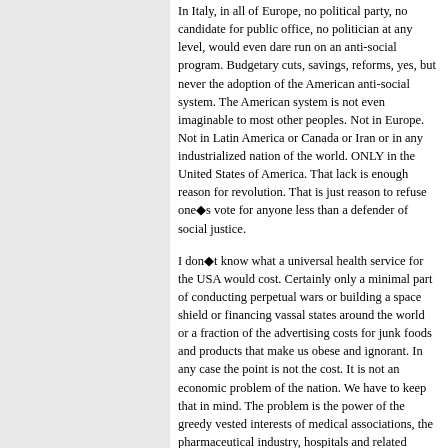In Italy, in all of Europe, no political party, no candidate for public office, no politician at any level, would even dare run on an anti-social program. Budgetary cuts, savings, reforms, yes, but never the adoption of the American anti-social system. The American system is not even imaginable to most other peoples. Not in Europe. Not in Latin America or Canada or Iran or in any industrialized nation of the world. ONLY in the United States of America. That lack is enough reason for revolution. That is just reason to refuse one◆s vote for anyone less than a defender of social justice.
I don◆t know what a universal health service for the USA would cost. Certainly only a minimal part of conducting perpetual wars or building a space shield or financing vassal states around the world or a fraction of the advertising costs for junk foods and products that make us obese and ignorant. In any case the point is not the cost. It is not an economic problem of the nation. We have to keep that in mind. The problem is the power of the greedy vested interests of medical associations, the pharmaceutical industry, hospitals and related medical care organizations. The problem is the power of money!
However, foremost and above all it is a problem of the a priori negation of anything...